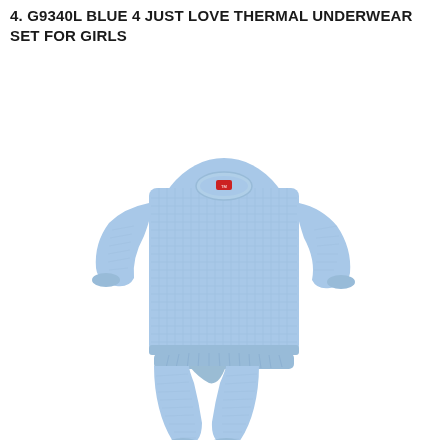4. g9340l BLUE 4 JUST LOVE THERMAL UNDERWEAR SET FOR GIRLS
[Figure (photo): A light blue thermal underwear set for girls laid flat on white background, consisting of a long-sleeve top with waffle texture and small red label at collar, and matching long pants with elastic waist.]